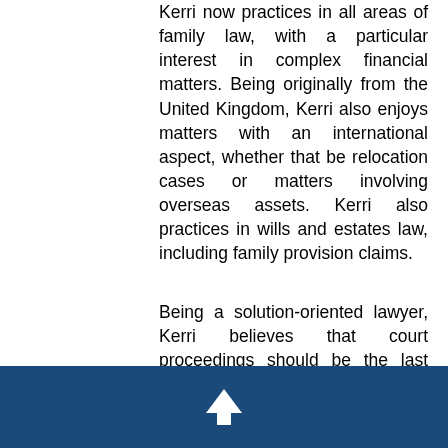Kerri now practices in all areas of family law, with a particular interest in complex financial matters. Being originally from the United Kingdom, Kerri also enjoys matters with an international aspect, whether that be relocation cases or matters involving overseas assets. Kerri also practices in wills and estates law, including family provision claims.
Being a solution-oriented lawyer, Kerri believes that court proceedings should be the last option; alternative dispute resolution (such as negotiation and mediation) should always be attempted before initiating proceedings. In matters with proceedings already on foot, Kerri appears before the Court at various mediation-style conferences to help clients fully explore the available creative solutions.
[Figure (other): Dark blue footer bar with a white upward arrow icon]